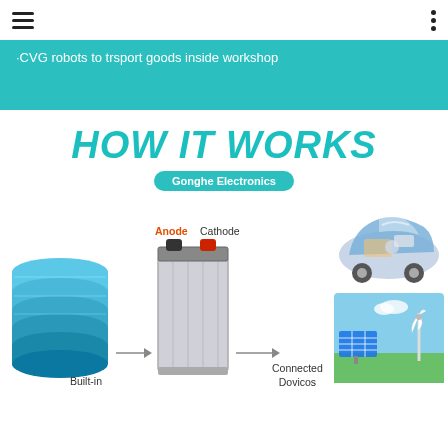·CVG robots to trsport goods inside workshop
HOW IT WORKS
Gonghe Electronics
[Figure (infographic): Diagram showing battery cells (left) with 'Built-in' label and arrow pointing to a battery unit labeled with 'Anode' (red) and 'Cathode', then an arrow pointing right to 'Connected Dovicos' label. Top right shows a cutaway car illustration. Bottom right shows solar panels and wind turbines illustration.]